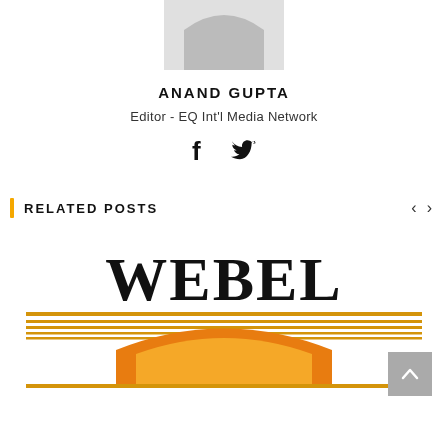[Figure (illustration): User avatar placeholder - grey arch/profile silhouette icon]
ANAND GUPTA
Editor - EQ Int'l Media Network
[Figure (illustration): Social media icons: Facebook (f) and Twitter (bird)]
RELATED POSTS
[Figure (logo): WEBEL logo - black serif text 'WEBEL' above stylized orange/gold arch with horizontal lines]